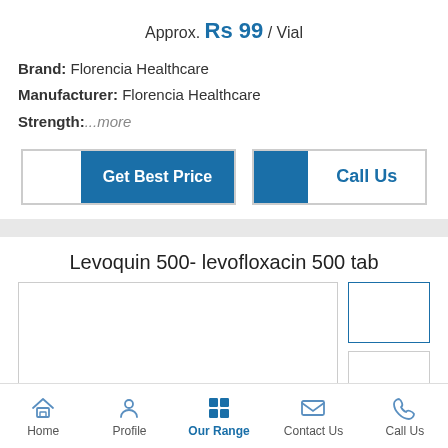Approx. Rs 99 / Vial
Brand: Florencia Healthcare
Manufacturer: Florencia Healthcare
Strength:...more
[Figure (screenshot): Get Best Price and Call Us buttons]
Levoquin 500- levofloxacin 500 tab
[Figure (photo): Product image placeholder boxes for Levoquin 500 tablet]
Home | Profile | Our Range | Contact Us | Call Us